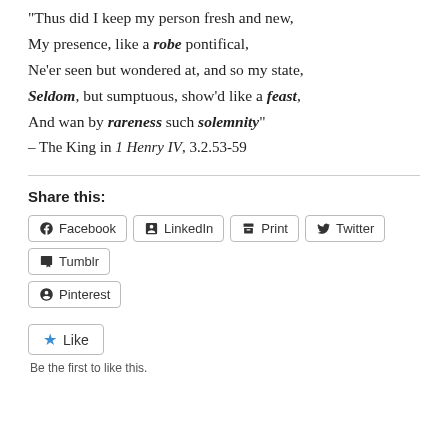“Thus did I keep my person fresh and new, My presence, like a robe pontifical, Ne’er seen but wondered at, and so my state, Seldom, but sumptuous, show’d like a feast, And wan by rareness such solemnity” – The King in 1 Henry IV, 3.2.53-59
Share this:
Facebook
LinkedIn
Print
Twitter
Tumblr
Pinterest
Like
Be the first to like this.